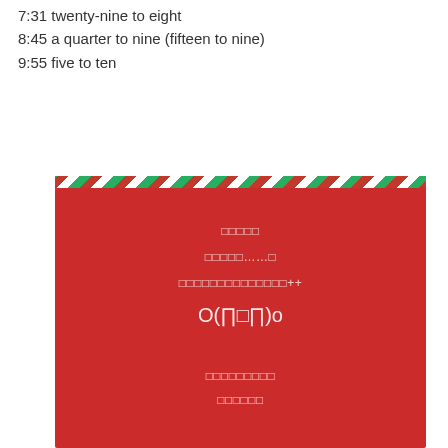7:31  twenty-nine to eight
8:45  a quarter to nine (fifteen to nine)
9:55  five to ten
[Figure (illustration): Red card with diagonal red and green stripe border at top, containing centered white text lines in an Asian script, a decorative emoticon O(∏□∏)o, and additional text lines below on a red background.]